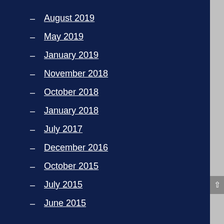August 2019
May 2019
January 2019
November 2018
October 2018
January 2018
July 2017
December 2016
October 2015
July 2015
June 2015